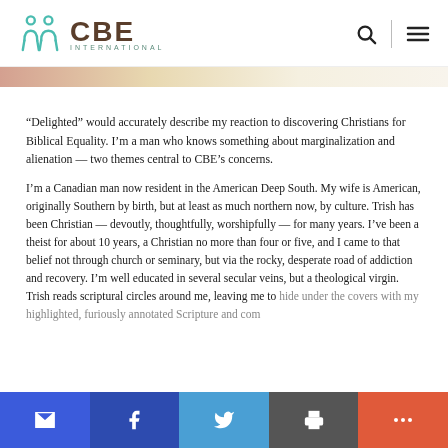CBE International
[Figure (logo): CBE International logo with teal figure icon and brown text reading CBE INTERNATIONAL]
“Delighted” would accurately describe my reaction to discovering Christians for Biblical Equality. I’m a man who knows something about marginalization and alienation — two themes central to CBE’s concerns.
I’m a Canadian man now resident in the American Deep South. My wife is American, originally Southern by birth, but at least as much northern now, by culture. Trish has been Christian — devoutly, thoughtfully, worshipfully — for many years. I’ve been a theist for about 10 years, a Christian no more than four or five, and I came to that belief not through church or seminary, but via the rocky, desperate road of addiction and recovery. I’m well educated in several secular veins, but a theological virgin. Trish reads scriptural circles around me, leaving me to hide under the covers with my highlighted, furiously annotated Scripture and commentaries.